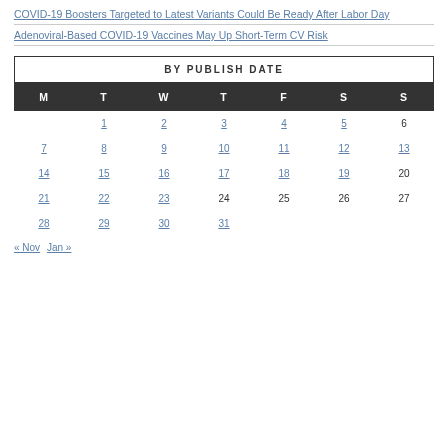COVID-19 Boosters Targeted to Latest Variants Could Be Ready After Labor Day
Adenoviral-Based COVID-19 Vaccines May Up Short-Term CV Risk
BY PUBLISH DATE
| M | T | W | T | F | S | S |
| --- | --- | --- | --- | --- | --- | --- |
|  | 1 | 2 | 3 | 4 | 5 | 6 |
| 7 | 8 | 9 | 10 | 11 | 12 | 13 |
| 14 | 15 | 16 | 17 | 18 | 19 | 20 |
| 21 | 22 | 23 | 24 | 25 | 26 | 27 |
| 28 | 29 | 30 | 31 |  |  |  |
« Nov   Jan »